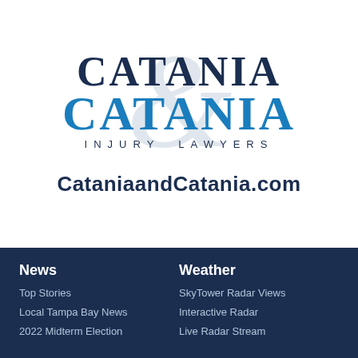[Figure (logo): Catania & Catania Injury Lawyers logo with dark navy 'CATANIA' text on top, blue 'CATANIA' text below, 'INJURY LAWYERS' subtitle, and a large faint ampersand in background]
CataniaandCatania.com
News
Top Stories
Local Tampa Bay News
2022 Midterm Election
Weather
SkyTower Radar Views
Interactive Radar
Live Radar Stream